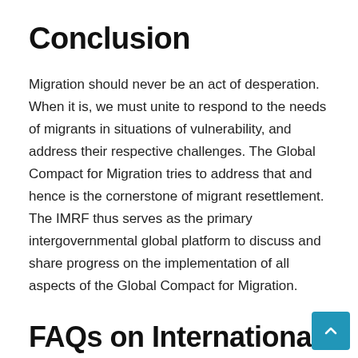Conclusion
Migration should never be an act of desperation. When it is, we must unite to respond to the needs of migrants in situations of vulnerability, and address their respective challenges. The Global Compact for Migration tries to address that and hence is the cornerstone of migrant resettlement. The IMRF thus serves as the primary intergovernmental global platform to discuss and share progress on the implementation of all aspects of the Global Compact for Migration.
FAQs on International Migration Review Forum